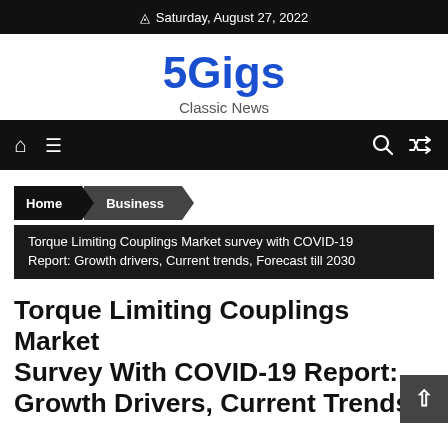Saturday, August 27, 2022
5Gigs
Classic News
[Figure (screenshot): Navigation bar with home icon, hamburger menu, search icon, and shuffle icon on black background]
Home > Business
Torque Limiting Couplings Market survey with COVID-19 Report: Growth drivers, Current trends, Forecast till 2030
Torque Limiting Couplings Market Survey With COVID-19 Report: Growth Drivers, Current Trends